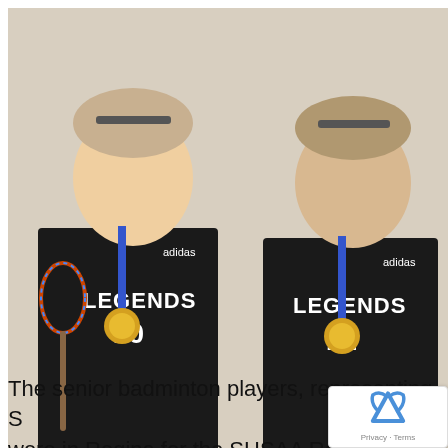[Figure (photo): Two teenage boys wearing black 'Legends' jerseys (numbers 10 and 12) with blue medals around their necks. The boy on the left holds a badminton racket. They are standing against a light-colored wall.]
Fox Valley's Gauge Conkin and Noah Bosch won gold in Boys Doubles at the SWAC District Championship.
SUBMITTED PHOTO
The senior badminton players, representing SW... were in Regina for the SHSAA Regional Tournament